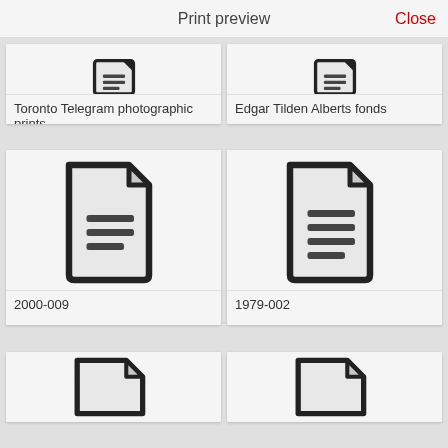Print preview
Close
[Figure (illustration): Document icon (partially visible, top crop) for Toronto Telegram photographic prints]
Toronto Telegram photographic prints
[Figure (illustration): Document icon (partially visible, top crop) for Edgar Tilden Alberts fonds]
Edgar Tilden Alberts fonds
[Figure (illustration): Document icon with text lines for 2000-009]
2000-009
[Figure (illustration): Document icon with text lines for 1979-002]
1979-002
[Figure (illustration): Document icon (partially visible, bottom crop) — bottom left card]
[Figure (illustration): Document icon (partially visible, bottom crop) — bottom right card]